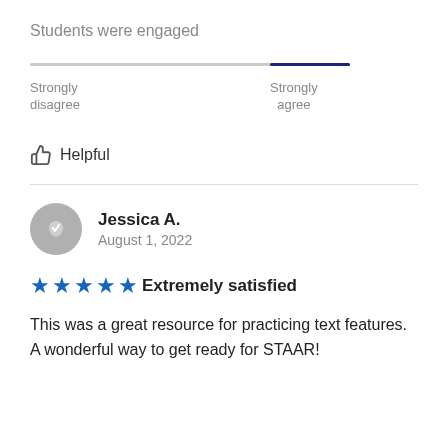Students were engaged
[Figure (infographic): A horizontal slider/scale showing a position roughly at the 'Strongly agree' end. The track is mostly light gray with a dark navy blue segment near the right side. Below the track are labels: 'Strongly disagree' on the left and 'Strongly agree' on the right.]
Strongly disagree
Strongly agree
👍 Helpful
Jessica A.
August 1, 2022
★★★★★ Extremely satisfied
This was a great resource for practicing text features. A wonderful way to get ready for STAAR!